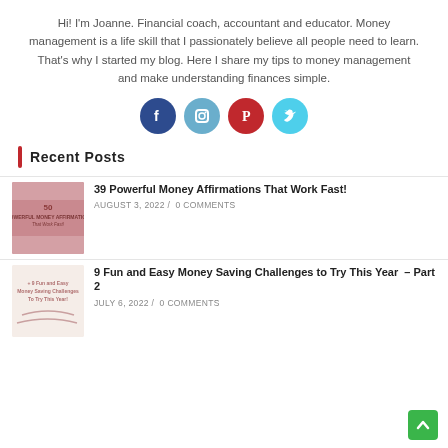Hi! I'm Joanne. Financial coach, accountant and educator. Money management is a life skill that I passionately believe all people need to learn. That's why I started my blog. Here I share my tips to money management and make understanding finances simple.
[Figure (infographic): Four social media icon circles: Facebook (dark blue), Instagram (medium blue), Pinterest (red), Twitter (cyan)]
Recent Posts
[Figure (photo): Thumbnail image for '39 Powerful Money Affirmations That Work Fast!' - pink/mauve colored book cover]
39 Powerful Money Affirmations That Work Fast!
AUGUST 3, 2022 / 0 COMMENTS
[Figure (photo): Thumbnail image for '9 Fun and Easy Money Saving Challenges to Try This Year! – Part 2' - light pink image with text]
9 Fun and Easy Money Saving Challenges to Try This Year  – Part 2
JULY 6, 2022 / 0 COMMENTS